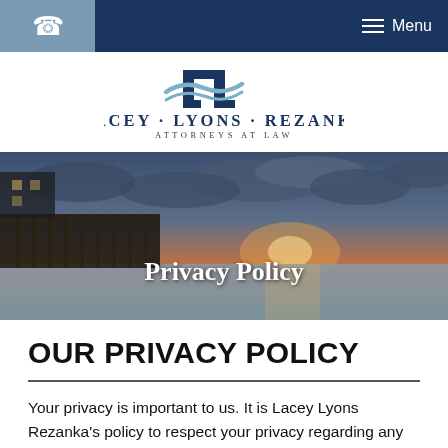Lacey Lyons Rezanka – Navigation bar with phone icon and Menu
[Figure (logo): Lacey Lyons Rezanka Attorneys at Law logo — stylized LL monogram with wave graphic above firm name]
[Figure (photo): Coastal pier at sunset with dramatic cloudy sky and calm water, overlaid with 'Privacy Policy' text]
OUR PRIVACY POLICY
Your privacy is important to us. It is Lacey Lyons Rezanka's policy to respect your privacy regarding any